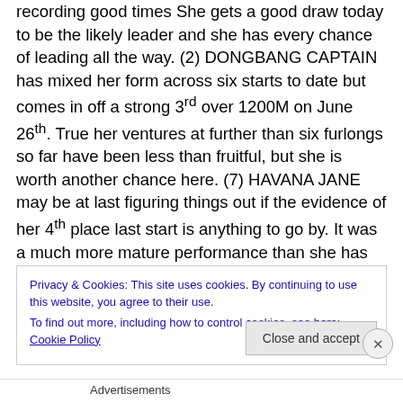recording good times She gets a good draw today to be the likely leader and she has every chance of leading all the way. (2) DONGBANG CAPTAIN has mixed her form across six starts to date but comes in off a strong 3rd over 1200M on June 26th. True her ventures at further than six furlongs so far have been less than fruitful, but she is worth another chance here. (7) HAVANA JANE may be at last figuring things out if the evidence of her 4th place last start is anything to go by. It was a much more mature performance than she has previously shown, and she is a place chance here.
Privacy & Cookies: This site uses cookies. By continuing to use this website, you agree to their use.
To find out more, including how to control cookies, see here: Cookie Policy
Close and accept
Advertisements